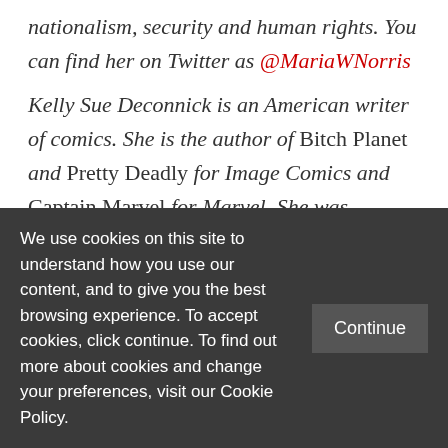nationalism, security and human rights. You can find her on Twitter as @MariaWNorris
Kelly Sue Deconnick is an American writer of comics. She is the author of Bitch Planet and Pretty Deadly for Image Comics and Captain Marvel for Marvel. She was nominated for a 2014 Eisner Award for Best Writer for her work on Pretty Deadly.
Click here for the introduction to the Comics
We use cookies on this site to understand how you use our content, and to give you the best browsing experience. To accept cookies, click continue. To find out more about cookies and change your preferences, visit our Cookie Policy.